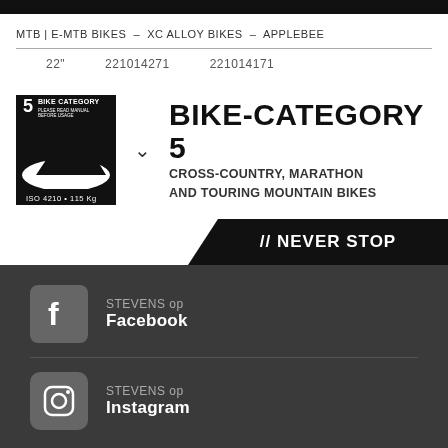MTB | E-MTB BIKES – XC ALLOY BIKES – APPLEBEE
22"   221014271   221014171
[Figure (logo): Bike Category 5 badge with mountain icon, ISO 4210, 115 Kg]
BIKE-CATEGORY 5
CROSS-COUNTRY, MARATHON AND TOURING MOUNTAIN BIKES
// NEVER STOP
[Figure (logo): Facebook icon square with f logo]
STEVENS op
Facebook
[Figure (logo): Instagram icon square with camera logo]
STEVENS op
Instagram